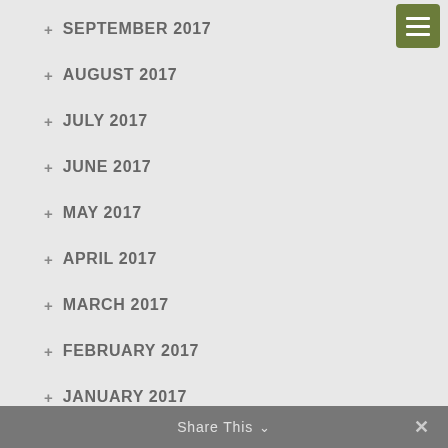SEPTEMBER 2017
AUGUST 2017
JULY 2017
JUNE 2017
MAY 2017
APRIL 2017
MARCH 2017
FEBRUARY 2017
JANUARY 2017
DECEMBER 2016
NOVEMBER 2016
Share This ∨  ×